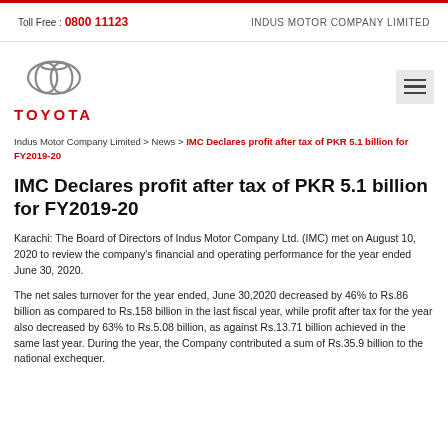Toll Free : 0800 11123 | INDUS MOTOR COMPANY LIMITED
[Figure (logo): Toyota logo and wordmark]
Indus Motor Company Limited > News > IMC Declares profit after tax of PKR 5.1 billion for FY2019-20
IMC Declares profit after tax of PKR 5.1 billion for FY2019-20
Karachi: The Board of Directors of Indus Motor Company Ltd. (IMC) met on August 10, 2020 to review the company's financial and operating performance for the year ended June 30, 2020.
The net sales turnover for the year ended, June 30,2020 decreased by 46% to Rs.86 billion as compared to Rs.158 billion in the last fiscal year, while profit after tax for the year also decreased by 63% to Rs.5.08 billion, as against Rs.13.71 billion achieved in the same last year. During the year, the Company contributed a sum of Rs.35.9 billion to the national exchequer.